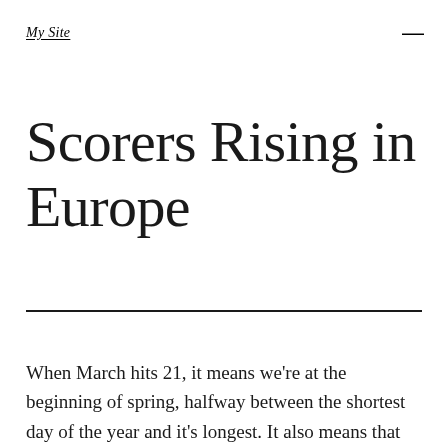My Site
Scorers Rising in Europe
When March hits 21, it means we're at the beginning of spring, halfway between the shortest day of the year and it's longest. It also means that